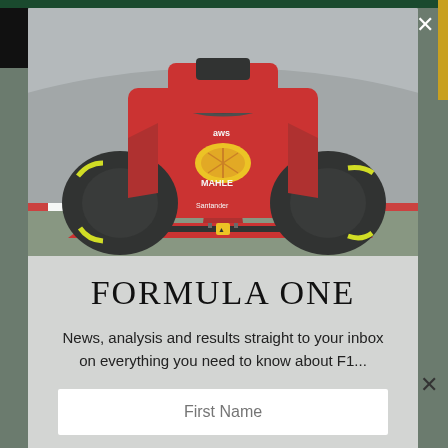[Figure (photo): A red Ferrari Formula 1 car (with Shell, AWS, Mahle, Santander logos) on a racing circuit, viewed from a low front angle. Yellow-trimmed tires visible.]
FORMULA ONE
News, analysis and results straight to your inbox on everything you need to know about F1...